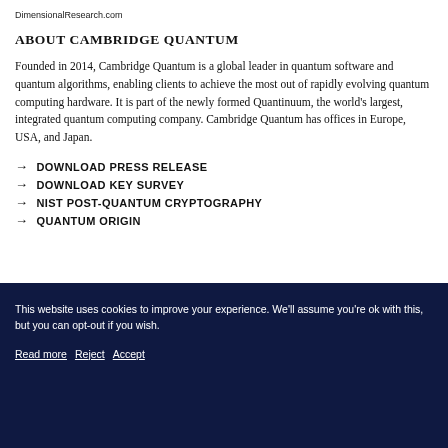DimensionalResearch.com
ABOUT CAMBRIDGE QUANTUM
Founded in 2014, Cambridge Quantum is a global leader in quantum software and quantum algorithms, enabling clients to achieve the most out of rapidly evolving quantum computing hardware. It is part of the newly formed Quantinuum, the world’s largest, integrated quantum computing company. Cambridge Quantum has offices in Europe, USA, and Japan.
→ DOWNLOAD PRESS RELEASE
→ DOWNLOAD KEY SURVEY
→ NIST POST-QUANTUM CRYPTOGRAPHY
→ QUANTUM ORIGIN
This website uses cookies to improve your experience. We’ll assume you’re ok with this, but you can opt-out if you wish. Read more Reject Accept